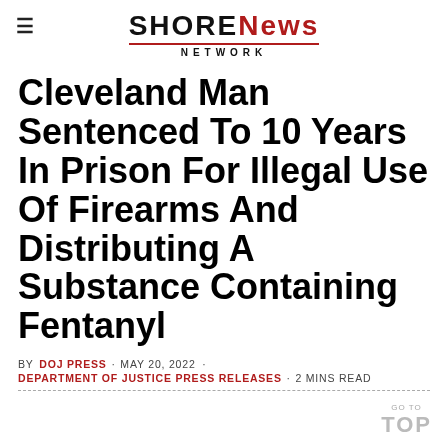≡ SHORE NEWS NETWORK
Cleveland Man Sentenced To 10 Years In Prison For Illegal Use Of Firearms And Distributing A Substance Containing Fentanyl
BY DOJ PRESS · MAY 20, 2022 · DEPARTMENT OF JUSTICE PRESS RELEASES · 2 MINS READ